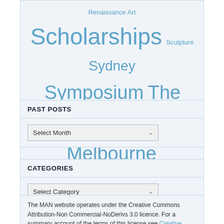Renaissance Art Scholarships Sculpture Sydney Symposium The University of Melbourne UK University of Melbourne
PAST POSTS
Select Month
CATEGORIES
Select Category
The MAN website operates under the Creative Commons Attribution-Non Commercial-NoDerivs 3.0 licence. For a summary account of the terms of this license see Creative